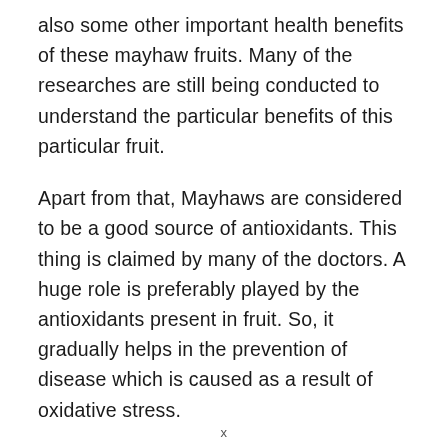also some other important health benefits of these mayhaw fruits. Many of the researches are still being conducted to understand the particular benefits of this particular fruit.
Apart from that, Mayhaws are considered to be a good source of antioxidants. This thing is claimed by many of the doctors. A huge role is preferably played by the antioxidants present in fruit. So, it gradually helps in the prevention of disease which is caused as a result of oxidative stress.
Oxidative stress helps in releasing free oxygen radicals in the body. This has been implicated in a
x